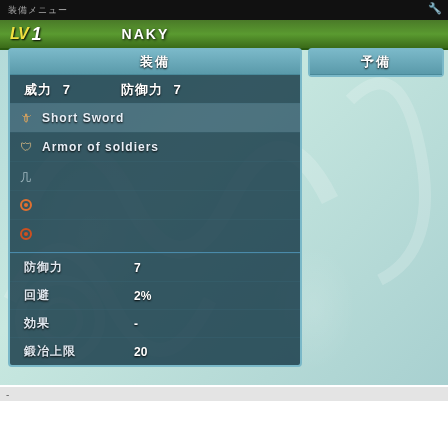[Figure (screenshot): Video game equipment screen (Japanese RPG) showing character NAKY at LV 1. Top panel shows 装備 (Equipment) with 威力 7, 防御力 7. Items: Short Sword, Armor of soldiers. Stats: 防御力 7, 回避 2%, 効果 -, 鍛冶上限 20. Right panel shows 予備. Dark teal game UI with light blue borders.]
[Figure (screenshot): Bottom portion showing Equipment tab label and LV 1 NAKY bar, same game UI.]